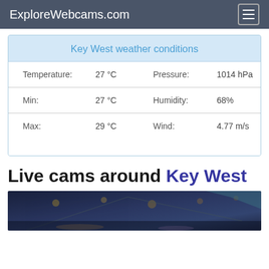ExploreWebcams.com
Key West weather conditions
| Temperature: | 27 °C | Pressure: | 1014 hPa |
| Min: | 27 °C | Humidity: | 68% |
| Max: | 29 °C | Wind: | 4.77 m/s |
Live cams around Key West
[Figure (photo): Night-time photo of Key West, showing a lit outdoor venue/bar area with string lights and a canopy structure, dark blue tones]